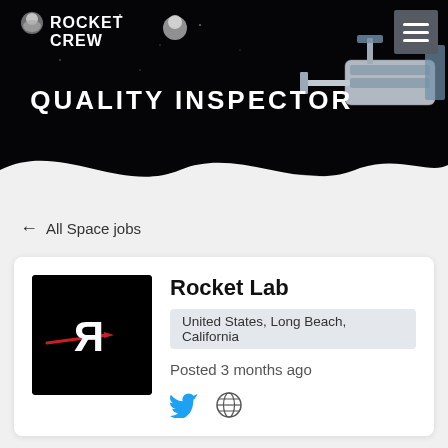[Figure (screenshot): Hero banner with dark space background showing ISS/satellite components, wave separator at bottom]
ROCKET CREW
QUALITY INSPECTOR
← All Space jobs
[Figure (logo): Rocket Lab company logo — white stylized R on black background with red streak]
Rocket Lab
United States, Long Beach, California
Posted 3 months ago